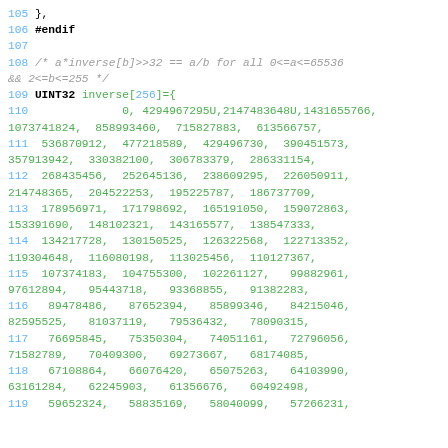[Figure (screenshot): Source code listing in a monospace font showing C code with line numbers in blue, keywords in black bold, comments in gray italic, array indices in blue, and numeric values in green. Lines 105-119 showing #endif directive, a comment about inverse array formula, and UINT32 inverse[256] array initialization with numeric values.]